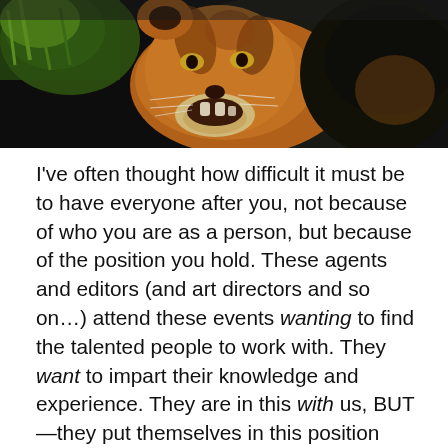[Figure (photo): Close-up photo of a tiger with mouth open, showing teeth. Dark background with orange/brown fur visible and green grass at the left edge.]
I've often thought how difficult it must be to have everyone after you, not because of who you are as a person, but because of the position you hold. These agents and editors (and art directors and so on…) attend these events wanting to find the talented people to work with. They want to impart their knowledge and experience. They are in this with us, BUT—they put themselves in this position knowing that at any moment they could be blindsided and accosted, and possibly often. They attend unarmed, without a whip and chair to fend off the next saber-toothed wannabe! It's not something to take lightly or be remiss about.